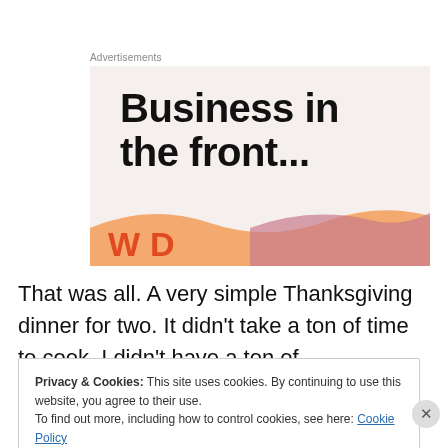Advertisements
[Figure (screenshot): Advertisement banner with text 'Business in the front...' on a beige/cream background with an orange and pink wave design at the bottom]
That was all. A very simple Thanksgiving dinner for two. It didn't take a ton of time to cook, I didn't have a ton of
Privacy & Cookies: This site uses cookies. By continuing to use this website, you agree to their use.
To find out more, including how to control cookies, see here: Cookie Policy
[Close and accept]